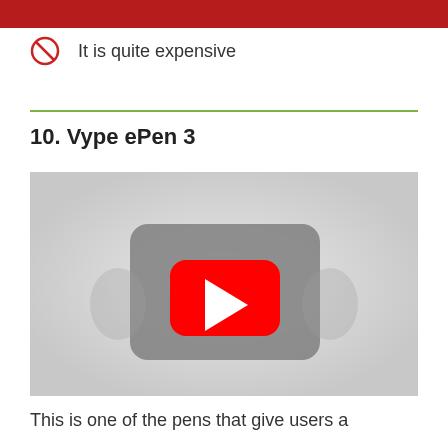CONS
It is quite expensive
10. Vype ePen 3
[Figure (screenshot): YouTube video embed placeholder showing a grey thumbnail with a red YouTube play button in the center]
This is one of the pens that give users a